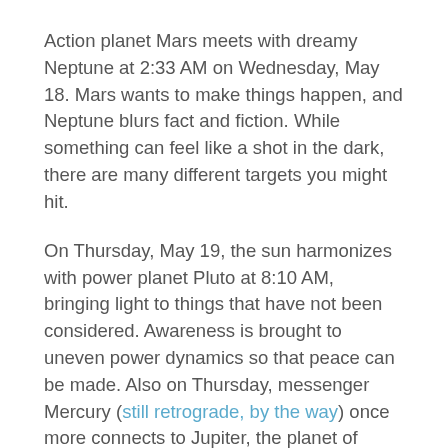Action planet Mars meets with dreamy Neptune at 2:33 AM on Wednesday, May 18. Mars wants to make things happen, and Neptune blurs fact and fiction. While something can feel like a shot in the dark, there are many different targets you might hit.
On Thursday, May 19, the sun harmonizes with power planet Pluto at 8:10 AM, bringing light to things that have not been considered. Awareness is brought to uneven power dynamics so that peace can be made. Also on Thursday, messenger Mercury (still retrograde, by the way) once more connects to Jupiter, the planet of higher knowledge, at 9:32 PM. We’re inspired by misunderstandings, since correcting mistakes is the best way to learn, and can truly be educational.
The sun enters Gemini, the sign of the twins, on Friday, May 20 at 9:22 PM, where it meets Gemini’s planetary ruler, Mercury, at 3:17 PM. We can make light of ourselves and joke about hilarious misunderstandings.
On Sunday, May 22, Mars connects with power planet Pluto at